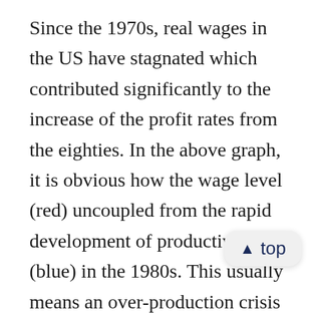Since the 1970s, real wages in the US have stagnated which contributed significantly to the increase of the profit rates from the eighties. In the above graph, it is obvious how the wage level (red) uncoupled from the rapid development of productivity (blue) in the 1980s. This usually means an over-production crisis would be triggered. Workers were more productive but no longer have money to consume the ever-greater quantity of goods they produce themselves. This did not happen despite stagnating wages, higher productivity and rising profit rates. The puzzle's solution is found in the financial markets and the